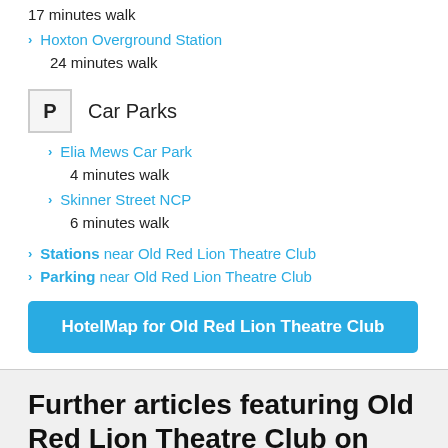17 minutes walk
Hoxton Overground Station
24 minutes walk
Car Parks
Elia Mews Car Park
4 minutes walk
Skinner Street NCP
6 minutes walk
Stations near Old Red Lion Theatre Club
Parking near Old Red Lion Theatre Club
HotelMap for Old Red Lion Theatre Club
Further articles featuring Old Red Lion Theatre Club on LondonTown.com